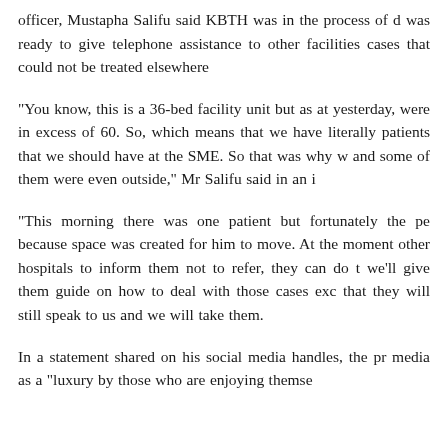officer, Mustapha Salifu said KBTH was in the process of d... was ready to give telephone assistance to other facilities cases that could not be treated elsewhere
"You know, this is a 36-bed facility unit but as at yesterday, were in excess of 60. So, which means that we have literally patients that we should have at the SME. So that was why w and some of them were even outside," Mr Salifu said in an i
"This morning there was one patient but fortunately the pe because space was created for him to move. At the moment other hospitals to inform them not to refer, they can do t we’ll give them guide on how to deal with those cases exc that they will still speak to us and we will take them.
In a statement shared on his social media handles, the pr media as a "luxury by those who are enjoying themse...